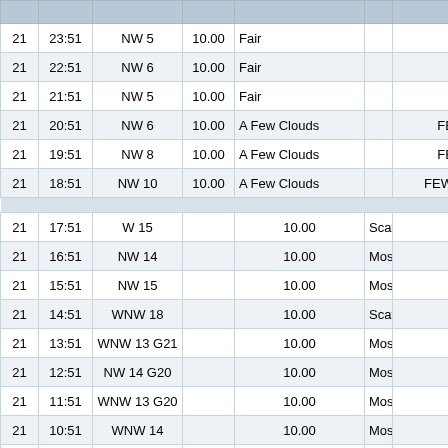|  |  |  |  |  |  | x. |  |  |
| --- | --- | --- | --- | --- | --- | --- | --- | --- |
| 21 | 23:51 | NW 5 | 10.00 | Fair |  | CLR |  | 61 |
| 21 | 22:51 | NW 6 | 10.00 | Fair |  | CLR |  | 63 |
| 21 | 21:51 | NW 5 | 10.00 | Fair |  | CLR |  | 64 |
| 21 | 20:51 | NW 6 | 10.00 | A Few Clouds |  | FEW060 |  | 66 |
| 21 | 19:51 | NW 8 | 10.00 | A Few Clouds |  | FEW060 |  | 68 |
| 21 | 18:51 | NW 10 | 10.00 | A Few Clouds |  | FEW060 FEW085 |  | 72 |
| 21 | 17:51 | W 15 |  | 10.00 | Scattered Clouds |  | FEW055 SCT |  |
| 21 | 16:51 | NW 14 |  | 10.00 | Mostly Cloudy |  | SCT055 BKN080 |  |
| 21 | 15:51 | NW 15 |  | 10.00 | Mostly Cloudy |  | SCT050 BKN075 |  |
| 21 | 14:51 | WNW 18 |  | 10.00 | Scattered Clouds |  | SCT047 |  |
| 21 | 13:51 | WNW 13 G21 |  | 10.00 | Mostly Cloudy |  | BKN043 |  |
| 21 | 12:51 | NW 14 G20 |  | 10.00 | Mostly Cloudy |  | BKN036 |  |
| 21 | 11:51 | WNW 13 G20 |  | 10.00 | Mostly Cloudy |  | BKN028 |  |
| 21 | 10:51 | WNW 14 |  | 10.00 | Mostly Cloudy |  | BKN026 |  |
| 21 | 09:51 | WNW 9 |  | 10.00 | Mostly Cloudy |  | BKN024 |  |
| 21 | 08:51 | WNW 12 |  | 10.00 | Mostly Cloudy |  | BKN018 |  |
| 21 | 07:51 | WNW 9 |  | 10.00 | Mostly Cloudy |  | BKN015 |  |